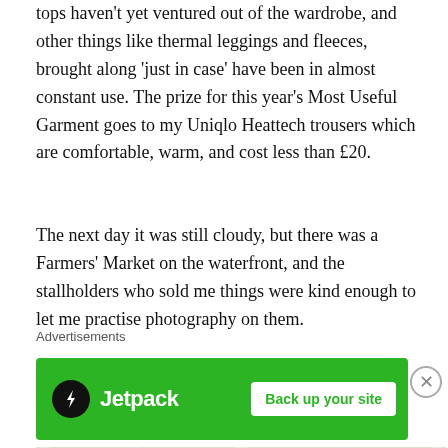tops haven't yet ventured out of the wardrobe, and other things like thermal leggings and fleeces, brought along 'just in case' have been in almost constant use. The prize for this year's Most Useful Garment goes to my Uniqlo Heattech trousers which are comfortable, warm, and cost less than £20.
The next day it was still cloudy, but there was a Farmers' Market on the waterfront, and the stallholders who sold me things were kind enough to let me practise photography on them.
[Figure (photo): Close-up photo of the underside of a white market tent canopy with criss-cross metal frame supports, taken from below looking up. Yellow tent edge visible at bottom left.]
Advertisements
[Figure (other): Jetpack advertisement banner with green background. Shows Jetpack logo (lightning bolt in circle) and text 'Jetpack' on left side, and a white button reading 'Back up your site' on the right.]